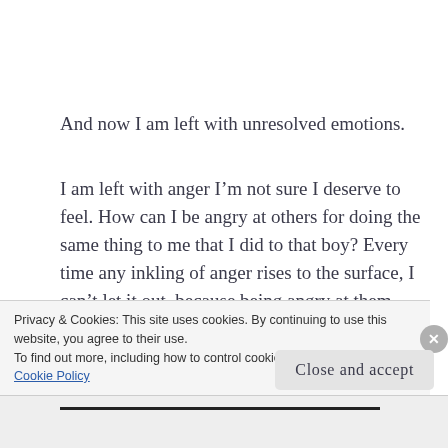And now I am left with unresolved emotions.
I am left with anger I’m not sure I deserve to feel. How can I be angry at others for doing the same thing to me that I did to that boy? Every time any inkling of anger rises to the surface, I can’t let it out, because being angry at them means I would have
Privacy & Cookies: This site uses cookies. By continuing to use this website, you agree to their use.
To find out more, including how to control cookies, see here: Cookie Policy
Close and accept